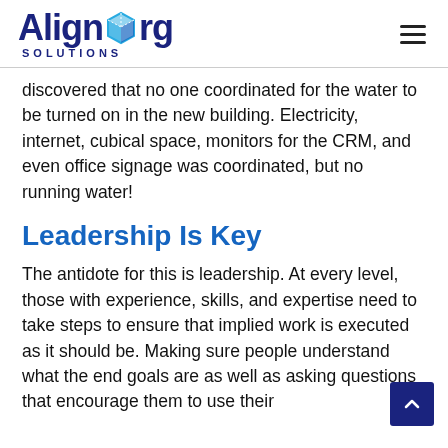AlignOrg Solutions
discovered that no one coordinated for the water to be turned on in the new building. Electricity, internet, cubical space, monitors for the CRM, and even office signage was coordinated, but no running water!
Leadership Is Key
The antidote for this is leadership. At every level, those with experience, skills, and expertise need to take steps to ensure that implied work is executed as it should be. Making sure people understand what the end goals are as well as asking questions that encourage them to use their